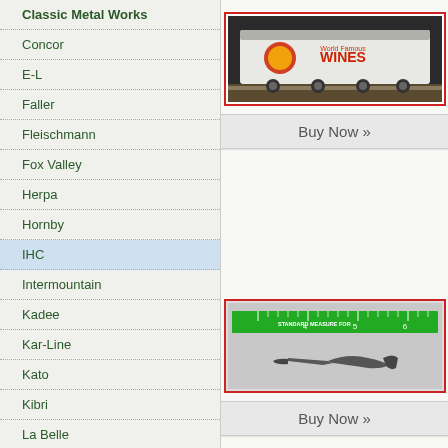Classic Metal Works
Concor
E-L
Faller
Fleischmann
Fox Valley
Herpa
Hornby
IHC
Intermountain
Kadee
Kar-Line
Kato
Kibri
La Belle
Life-Like
Liliput
Lima
Lionel
M-R
[Figure (photo): Model train freight car labeled WINES on a track, white/silver body with red border]
Buy Now »
[Figure (photo): Small model train coupler/part shown next to a green standard measure ruler]
Buy Now »